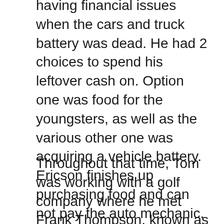having financial issues when the cars and truck battery was dead. He had 2 choices to spend his leftover cash on. Option one was food for the youngsters, as well as the various other one was acquiring a vehicle battery. Ericson finishes up purchasing food and can not pay the auto mechanic. Later, he calculated just how much his family invested in batteries, as well as the outcome was shocking. Tom started looking into to discover a means to minimize spending on batteries.
Throughout that time, Tom was working with a golf company where he met Frank Thompson, known as “The Battery Man.” Thompson used to find to Tom’s company to